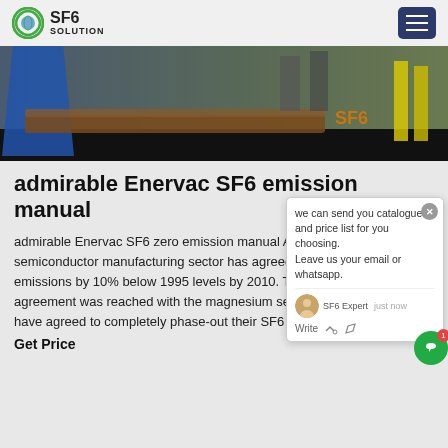SF6 SOLUTION
[Figure (photo): Outdoor industrial scene with a person in blue jacket, wooden barrier, and dark ground surface with partial signage visible]
admirable Enervac SF6 emission manual
admirable Enervac SF6 zero emission manual Aug 08, 2003The semiconductor manufacturing sector has agreed to reduce their emissions by 10% below 1995 levels by 2010. This year, a new agreement was reached with the magnesium sector under which they have agreed to completely phase-out their SF6 emissions by 2010.
Get Price